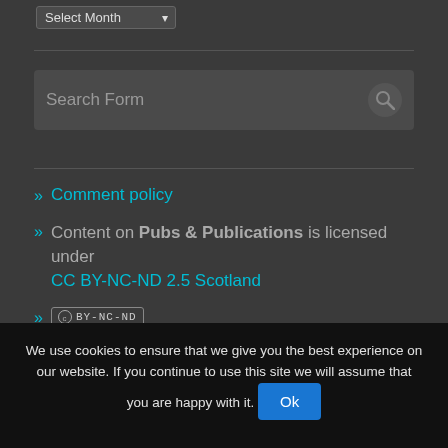[Figure (screenshot): Select Month dropdown widget with dark background]
[Figure (screenshot): Search Form input box with magnifying glass icon on dark background]
» Comment policy
» Content on Pubs & Publications is licensed under CC BY-NC-ND 2.5 Scotland
» CC BY-NC-ND badge
We use cookies to ensure that we give you the best experience on our website. If you continue to use this site we will assume that you are happy with it. Ok